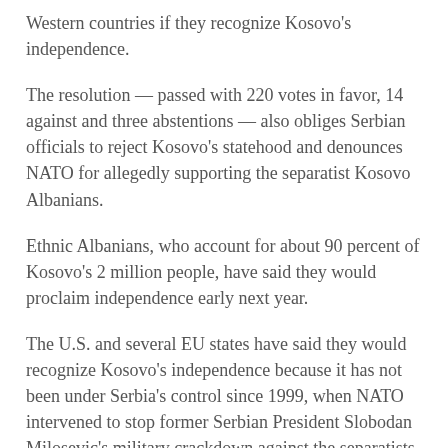Western countries if they recognize Kosovo's independence.
The resolution — passed with 220 votes in favor, 14 against and three abstentions — also obliges Serbian officials to reject Kosovo's statehood and denounces NATO for allegedly supporting the separatist Kosovo Albanians.
Ethnic Albanians, who account for about 90 percent of Kosovo's 2 million people, have said they would proclaim independence early next year.
The U.S. and several EU states have said they would recognize Kosovo's independence because it has not been under Serbia's control since 1999, when NATO intervened to stop former Serbian President Slobodan Milosevic's military crackdown against the separatists.
Serbia, backed by Russia, insists Kosovo — considered the cradle of Serbia's medieval state and religion — should remain part of its territory, and has urged more